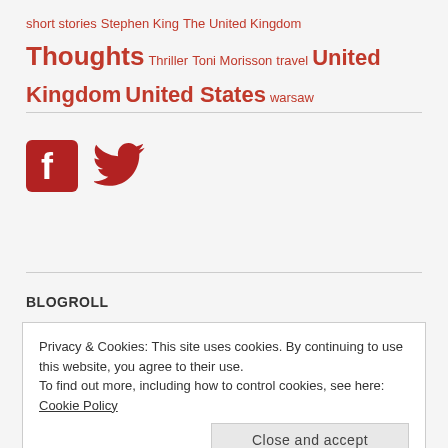short stories Stephen King The United Kingdom Thoughts Thriller Toni Morisson travel United Kingdom United States warsaw
[Figure (illustration): Facebook and Twitter social media icons in dark red/crimson color]
BLOGROLL
Privacy & Cookies: This site uses cookies. By continuing to use this website, you agree to their use. To find out more, including how to control cookies, see here: Cookie Policy
Close and accept